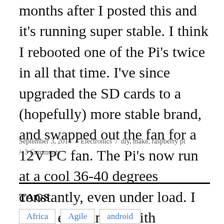months after I posted this and it's running super stable. I think I rebooted one of the Pi's twice in all that time. I've since upgraded the SD cards to a (hopefully) more stable brand, and swapped out the fan for a 12V PC fan. The Pi's now run at a cool 36-40 degrees constantly, even under load. I might experiment with over-clocking…
September 3, 2014 / Electronics / diy, make, raspberry pi / 3 Comments
TAGS
Africa
Agile
android